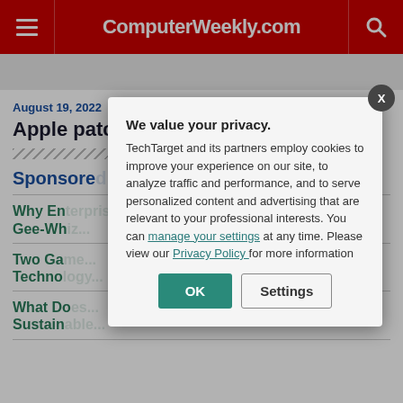ComputerWeekly.com
August 19, 2022
Apple patc... ...Seri22
Sponsored
Why En... Gee-Wh...
Two Ga... Techno...
What Do... Sustain...
[Figure (screenshot): Privacy consent modal overlay on ComputerWeekly.com website. Modal title: 'We value your privacy.' Body text: 'TechTarget and its partners employ cookies to improve your experience on our site, to analyze traffic and performance, and to serve personalized content and advertising that are relevant to your professional interests. You can manage your settings at any time. Please view our Privacy Policy for more information'. Two buttons: OK (teal) and Settings (outlined).]